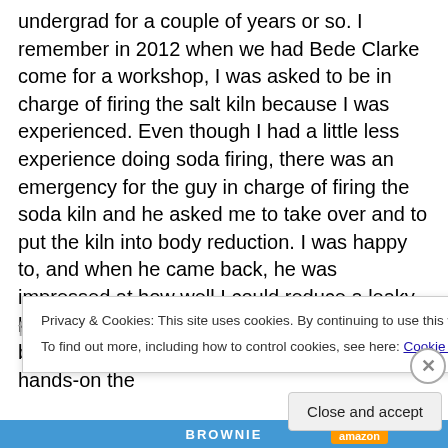undergrad for a couple of years or so. I remember in 2012 when we had Bede Clarke come for a workshop, I was asked to be in charge of firing the salt kiln because I was experienced. Even though I had a little less experience doing soda firing, there was an emergency for the guy in charge of firing the soda kiln and he asked me to take over and to put the kiln into body reduction. I was happy to, and when he came back, he was impressed at how well I could reduce a leaky kiln. Anyway, I really want to get back into it because I love how it looks, and also how hands-on the firing method is. I miss firing kilns manually. There is
Privacy & Cookies: This site uses cookies. By continuing to use this website, you agree to their use.
To find out more, including how to control cookies, see here: Cookie Policy
Close and accept